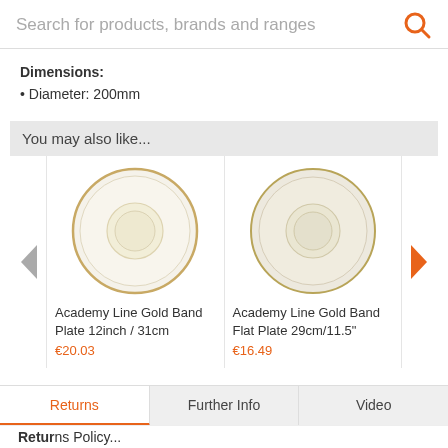Search for products, brands and ranges
Dimensions:
Diameter: 200mm
You may also like...
[Figure (photo): Academy Line Gold Band Plate 12inch / 31cm - cream plate with gold rim]
Academy Line Gold Band Plate 12inch / 31cm
€20.03
[Figure (photo): Academy Line Gold Band Flat Plate 29cm/11.5" - cream plate with gold rim]
Academy Line Gold Band Flat Plate 29cm/11.5"
€16.49
Returns | Further Info | Video